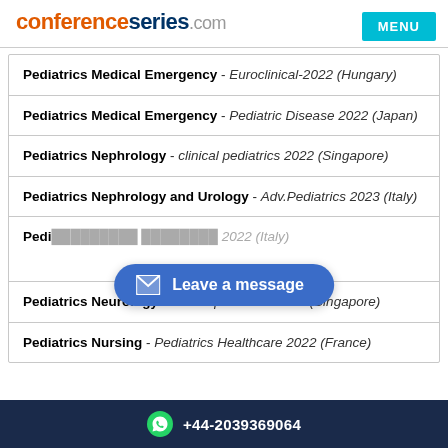conferenceseries.com
Pediatrics Medical Emergency - Euroclinical-2022 (Hungary)
Pediatrics Medical Emergency - Pediatric Disease 2022 (Japan)
Pediatrics Nephrology - clinical pediatrics 2022 (Singapore)
Pediatrics Nephrology and Urology - Adv.Pediatrics 2023 (Italy)
Pedi... - ...2022 (Italy)
Pediatrics Neurology - clinical pediatrics 2022 (Singapore)
Pediatrics Nursing - Pediatrics Healthcare 2022 (France)
+44-2039369064